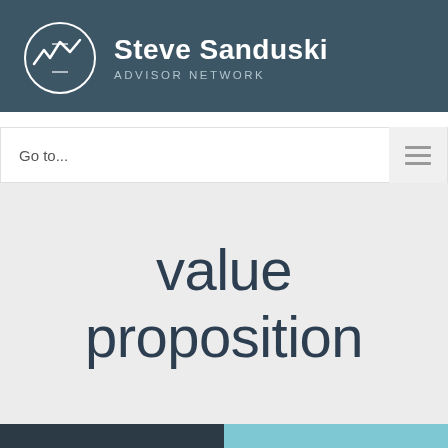[Figure (logo): Steve Sanduski Advisor Network logo with circular graph icon and text]
Go to...
value proposition